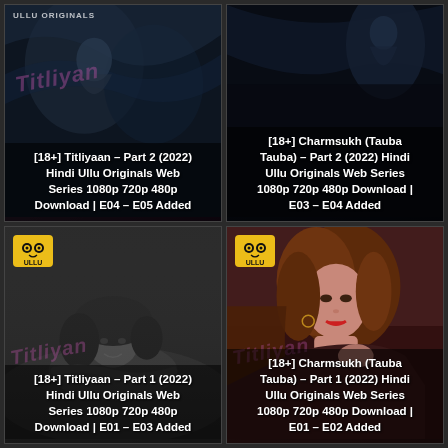[Figure (screenshot): Web series thumbnail for [18+] Titliyaan Part 2 (2022) Hindi Ullu Originals Web Series, dark romantic background with decorative pink butterfly logo]
[18+] Titliyaan – Part 2 (2022) Hindi Ullu Originals Web Series 1080p 720p 480p Download | E04 – E05 Added
[Figure (screenshot): Web series thumbnail for [18+] Charmsukh (Tauba Tauba) Part 2 (2022) Hindi Ullu Originals Web Series, dark background with woman silhouette]
[18+] Charmsukh (Tauba Tauba) – Part 2 (2022) Hindi Ullu Originals Web Series 1080p 720p 480p Download | E03 – E04 Added
[Figure (screenshot): Web series thumbnail for [18+] Titliyaan Part 1 (2022) Hindi Ullu Originals Web Series, black and white photo of smiling woman lying down]
[18+] Titliyaan – Part 1 (2022) Hindi Ullu Originals Web Series 1080p 720p 480p Download | E01 – E03 Added
[Figure (screenshot): Web series thumbnail for [18+] Charmsukh (Tauba Tauba) Part 1 (2022) Hindi Ullu Originals Web Series, woman with auburn hair posing]
[18+] Charmsukh (Tauba Tauba) – Part 1 (2022) Hindi Ullu Originals Web Series 1080p 720p 480p Download | E01 – E02 Added